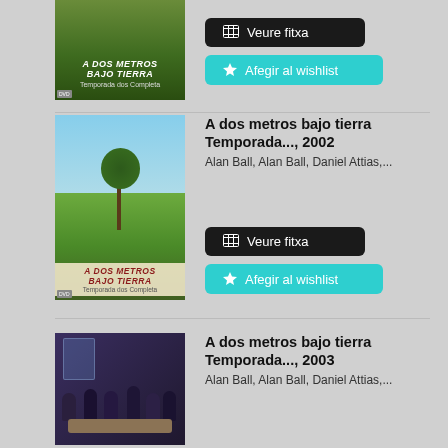[Figure (photo): DVD cover thumbnail of 'A dos metros bajo tierra' - green field background, partial view at top]
Veure fitxa
Afegir al wishlist
[Figure (photo): DVD cover of 'A dos metros bajo tierra Temporada dos Completa' - tree on green field with blue sky]
A dos metros bajo tierra Temporada..., 2002
Alan Ball, Alan Ball, Daniel Attias,...
Veure fitxa
Afegir al wishlist
[Figure (photo): DVD cover of 'A dos metros bajo tierra' season 3 - group of people around a dinner table in a dark room]
A dos metros bajo tierra Temporada..., 2003
Alan Ball, Alan Ball, Daniel Attias,...